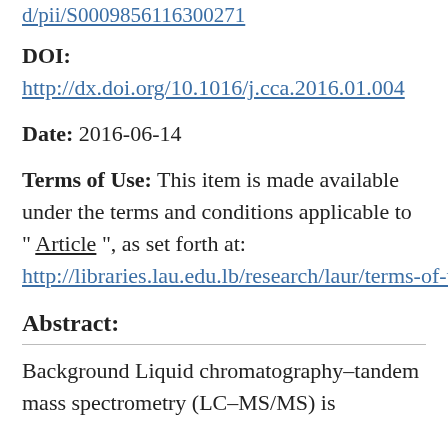d/pii/S0009856116300271
DOI: http://dx.doi.org/10.1016/j.cca.2016.01.004
Date: 2016-06-14
Terms of Use: This item is made available under the terms and conditions applicable to " Article ", as set forth at: http://libraries.lau.edu.lb/research/laur/terms-of-use/articles.php
Abstract:
Background Liquid chromatography–tandem mass spectrometry (LC–MS/MS) is